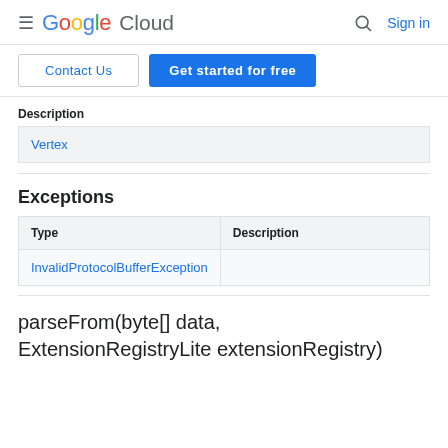Google Cloud  Sign in
Contact Us  Get started for free
Description
| Description |
| --- |
| Vertex |
Exceptions
| Type | Description |
| --- | --- |
| InvalidProtocolBufferException |  |
parseFrom(byte[] data, ExtensionRegistryLite extensionRegistry)